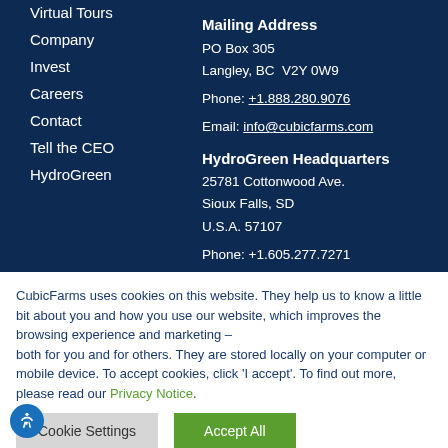Virtual Tours
Company
Invest
Careers
Contact
Tell the CEO
HydroGreen
Mailing Address
PO Box 305
Langley, BC  V2Y 0W9

Phone: +1.888.280.9076

Email: info@cubicfarms.com

HydroGreen Headquarters
25781 Cottonwood Ave.
Sioux Falls, SD
U.S.A. 57107

Phone: +1.605.277.7271
CubicFarms uses cookies on this website. They help us to know a little bit about you and how you use our website, which improves the browsing experience and marketing – both for you and for others. They are stored locally on your computer or mobile device. To accept cookies, click 'I accept'. To find out more, please read our Privacy Notice.